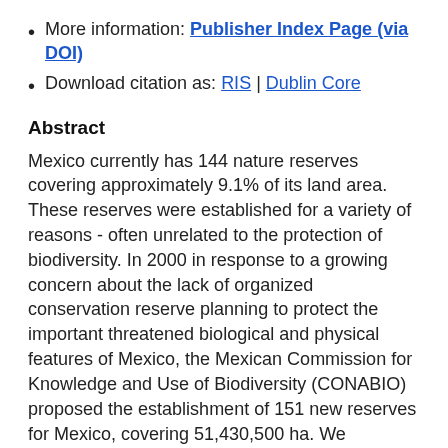More information: Publisher Index Page (via DOI)
Download citation as: RIS | Dublin Core
Abstract
Mexico currently has 144 nature reserves covering approximately 9.1% of its land area. These reserves were established for a variety of reasons - often unrelated to the protection of biodiversity. In 2000 in response to a growing concern about the lack of organized conservation reserve planning to protect the important threatened biological and physical features of Mexico, the Mexican Commission for Knowledge and Use of Biodiversity (CONABIO) proposed the establishment of 151 new reserves for Mexico, covering 51,430,500 ha. We assembled...